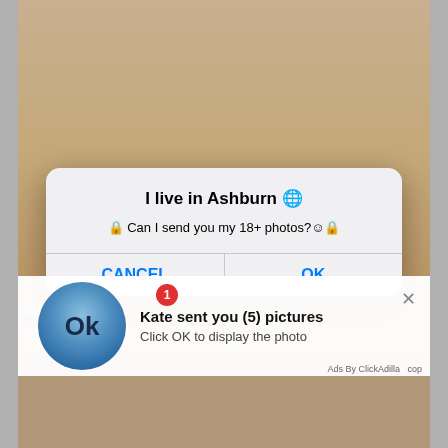[Figure (screenshot): Mobile phone screenshot showing an adult content website with a dialog box overlay and a notification bar at the bottom.]
I live in Ashburn 🌐
🔒 Can I send you my 18+ photos?☺️🔒
CANCEL
OK
Kate sent you (5) pictures
Click OK to display the photo
Old w
Ads By ClickAdilla  cop